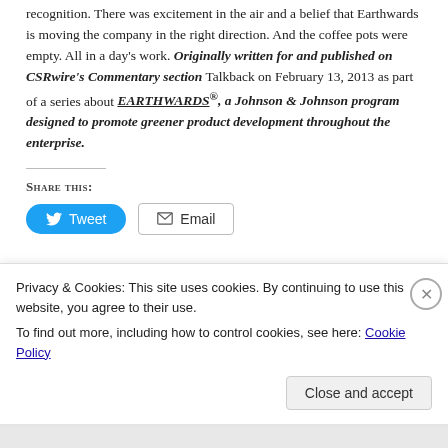recognition. There was excitement in the air and a belief that Earthwards is moving the company in the right direction. And the coffee pots were empty. All in a day's work. Originally written for and published on CSRwire's Commentary section Talkback on February 13, 2013 as part of a series about EARTHWARDS®, a Johnson & Johnson program designed to promote greener product development throughout the enterprise.
Share this:
[Figure (other): Tweet button (blue rounded) and Email button (grey outlined) for sharing]
Privacy & Cookies: This site uses cookies. By continuing to use this website, you agree to their use.
To find out more, including how to control cookies, see here: Cookie Policy